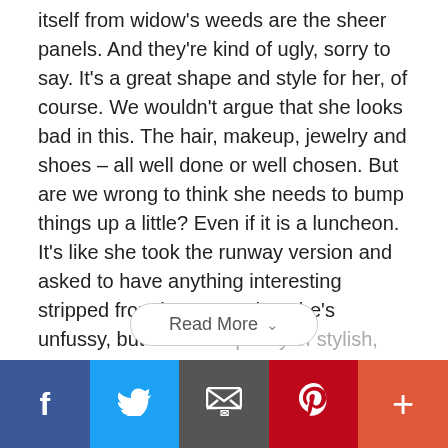itself from widow's weeds are the sheer panels. And they're kind of ugly, sorry to say. It's a great shape and style for her, of course. We wouldn't argue that she looks bad in this. The hair, makeup, jewelry and shoes – all well done or well chosen. But are we wrong to think she needs to bump things up a little? Even if it is a luncheon. It's like she took the runway version and asked to have anything interesting stripped from it. We get that she's unfussy, but there are plenty of stylish, simple ways to render that.
Read More